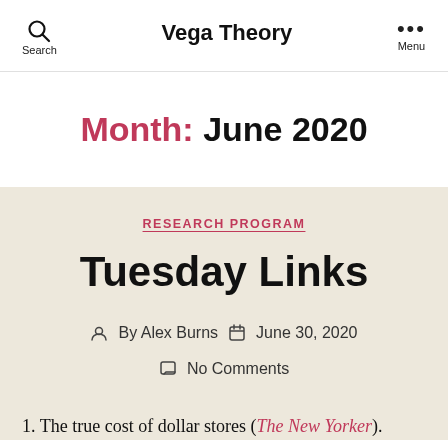Search   Vega Theory   Menu
Month: June 2020
RESEARCH PROGRAM
Tuesday Links
By Alex Burns   June 30, 2020   No Comments
1. The true cost of dollar stores (The New Yorker).